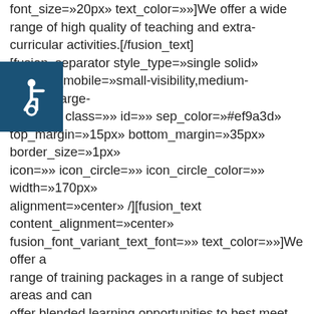font_size=»20px» text_color=»»]We offer a wide range of high quality of teaching and extra-curricular activities.[/fusion_text][fusion_separator style_type=»single solid» hide_on_mobile=»small-visibility,medium-visibility,large-visibility» class=»» id=»» sep_color=»#ef9a3d» top_margin=»15px» bottom_margin=»35px» border_size=»1px» icon=»» icon_circle=»» icon_circle_color=»» width=»170px» alignment=»center» /][fusion_text content_alignment=»center» fusion_font_variant_text_font=»» text_color=»»]We offer a range of training packages in a range of subject areas and can offer blended learning opportunities to best meet your needs. If sitting in a room with a trainer and having the opportunity for discussion with other learners sounds good to you then we can offer this.[/fusion_text][/fusion_builder_column][fusion_builder_column type=»1_6″ type=»1_6″ layout=»1_6″ spacing=»yes» center_content=»no» hover_type=»none» link=»» min_height=»» hide_on_mobile=»yes» class=»» id=»» background_color=»» background_image=»» background_position=»left top» undefined=»» background_repeat=»no-repeat» border_color=»»
[Figure (illustration): Accessibility icon: white wheelchair symbol on dark blue background]